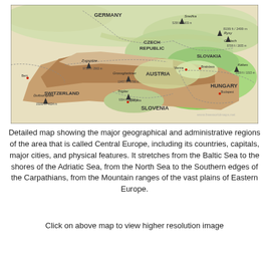[Figure (map): Physical/political map of Central Europe showing countries (Germany, Czech Republic, Slovakia, Austria, Hungary, Switzerland, Slovenia), major mountain peaks with elevations (Snežka 5258 ft/1603 m, Rysy 8199 ft/2499 m, Gerlach 8708 ft/2655 m, Kékes 3329 ft/1015 m, Zugspitze 9719 ft/2963 m, Grossglockner 12457 ft/3798 m, Triglav 9394 ft/2864 m, Dufourspitze 15200 ft/4634 m), terrain shading, watermark www.freeworldmaps.net]
Detailed map showing the major geographical and administrative regions of the area that is called Central Europe, including its countries, capitals, major cities, and physical features. It stretches from the Baltic Sea to the shores of the Adriatic Sea, from the North Sea to the Southern edges of the Carpathians, from the Mountain ranges of the vast plains of Eastern Europe.
Click on above map to view higher resolution image